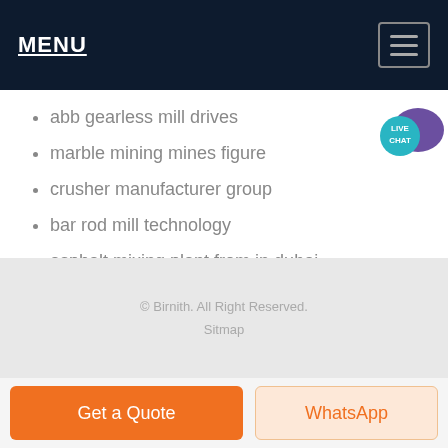MENU
abb gearless mill drives
marble mining mines figure
crusher manufacturer group
bar rod mill technology
asphalt mixing plant from in dubai
bolivia 2013 pys series ce high efficiency cone crusher
© Birnith. All Right Reserved.
Sitmap
Get a Quote
WhatsApp